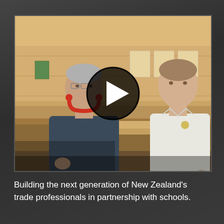[Figure (photo): A video thumbnail showing an older man with red headphones around his neck (wearing a dark blue fleece) explaining something to a young man in a white polo shirt, in a woodworking/trade workshop setting with wood panels and posters visible in the background. A play button overlay is centered on the image.]
Building the next generation of New Zealand's trade professionals in partnership with schools.